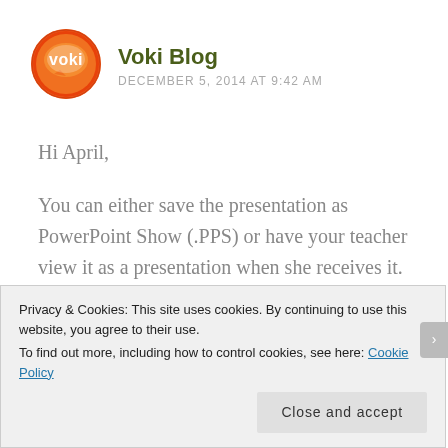[Figure (logo): Voki orange circular logo with speech bubble and 'voki' text in white]
Voki Blog
DECEMBER 5, 2014 AT 9:42 AM
Hi April,
You can either save the presentation as PowerPoint Show (.PPS) or have your teacher view it as a presentation when she receives it.
Best,
The Voki Team
Privacy & Cookies: This site uses cookies. By continuing to use this website, you agree to their use.
To find out more, including how to control cookies, see here: Cookie Policy
Close and accept